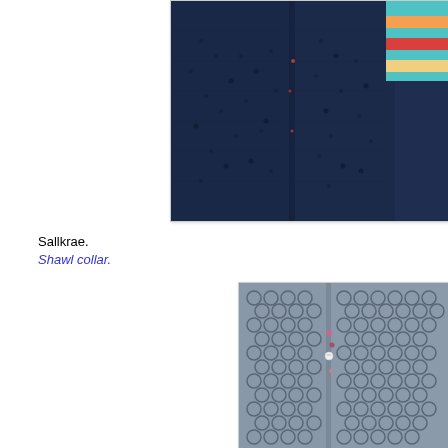[Figure (photo): Close-up of a dark navy blue knitted fabric with diamond lace pattern, showing center seam/button band, with colorful striped fabric visible at top right corner]
Sallkrae.
Shawl collar.
[Figure (photo): Close-up of a grey/silver knitted fabric with open honeycomb/bubble lace pattern, showing center seam with small button, with pink flecks visible in the yarn]